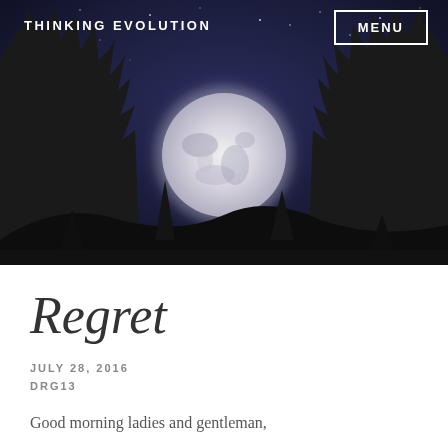THINKING EVOLUTION
[Figure (photo): Night sky photograph with silhouetted trees and a large full moon in the center against a deep blue-purple starry sky]
Regret
JULY 28, 2016
DRG13
Good morning ladies and gentleman,